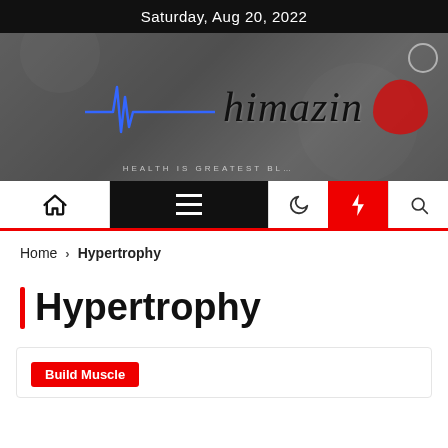Saturday, Aug 20, 2022
[Figure (logo): himazin health website logo with ECG heartbeat line in blue and site name in cursive, tagline HEALTH IS GREATEST BLESSING]
[Figure (screenshot): Navigation bar with home icon, hamburger menu, moon icon, lightning bolt (red), and search icon]
Home > Hypertrophy
Hypertrophy
Build Muscle